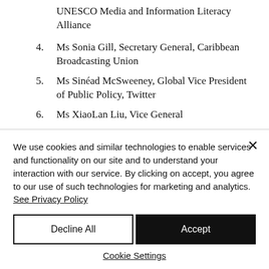UNESCO Media and Information Literacy Alliance
4. Ms Sonia Gill, Secretary General, Caribbean Broadcasting Union
5. Ms Sinéad McSweeney, Global Vice President of Public Policy, Twitter
6. Ms XiaoLan Liu, Vice General
We use cookies and similar technologies to enable services and functionality on our site and to understand your interaction with our service. By clicking on accept, you agree to our use of such technologies for marketing and analytics. See Privacy Policy
Decline All
Accept
Cookie Settings